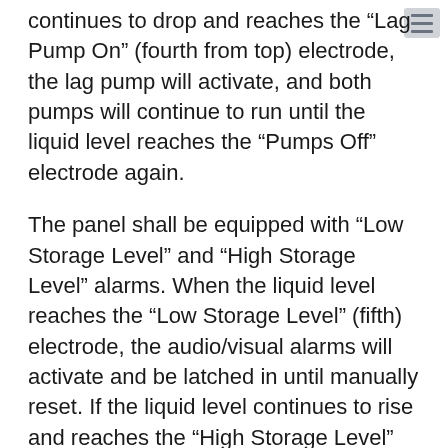continues to drop and reaches the “Lag Pump On” (fourth from top) electrode, the lag pump will activate, and both pumps will continue to run until the liquid level reaches the “Pumps Off” electrode again.
The panel shall be equipped with “Low Storage Level” and “High Storage Level” alarms. When the liquid level reaches the “Low Storage Level” (fifth) electrode, the audio/visual alarms will activate and be latched in until manually reset. If the liquid level continues to rise and reaches the “High Storage Level” (top) electrode, the audio/visual alarms will activate and be